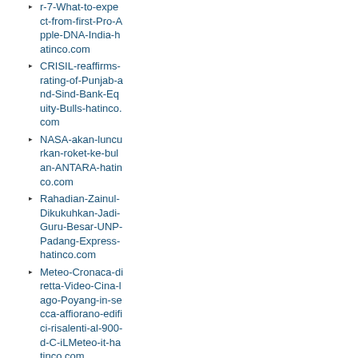r-7-What-to-expect-from-first-Pro-Apple-DNA-India-hatinco.com
CRISIL-reaffirms-rating-of-Punjab-and-Sind-Bank-Equity-Bulls-hatinco.com
NASA-akan-luncurkan-roket-ke-bulan-ANTARA-hatinco.com
Rahadian-Zainul-Dikukuhkan-Jadi-Guru-Besar-UNP-Padang-Express-hatinco.com
Meteo-Cronaca-diretta-Video-Cina-lago-Poyang-in-secca-affiorano-edifici-risalenti-al-900-d-C-iLMeteo-it-hatinco.com
Last-modified: 2022-05-18 (水) 02:49:43 (103d)
Site admin: anonymous
PukiWiki 1.5.1 © 2001-2016 PukiWiki Development Team. Powered by PHP 7.3.10. HTML convert time: 0.008 sec.